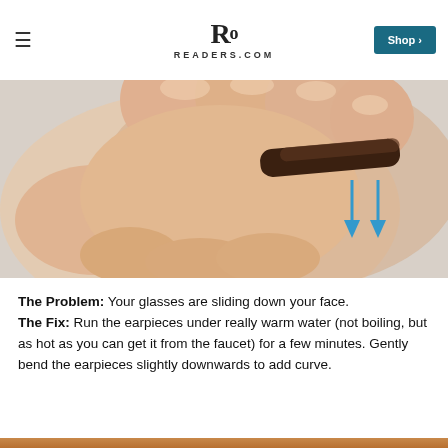READERS.COM
[Figure (photo): Hands bending eyeglass temple/earpiece with two blue downward arrows indicating direction of bend]
The Problem: Your glasses are sliding down your face. The Fix: Run the earpieces under really warm water (not boiling, but as hot as you can get it from the faucet) for a few minutes. Gently bend the earpieces slightly downwards to add curve.